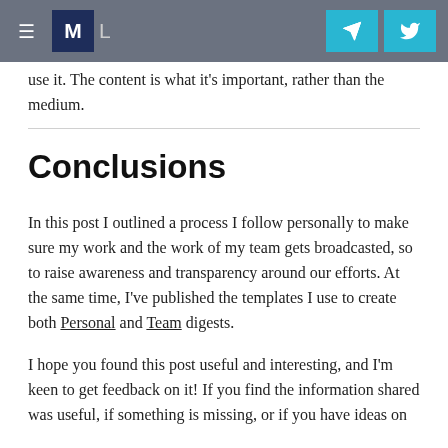M L [navigation header with telegram and twitter icons]
use it. The content is what it's important, rather than the medium.
Conclusions
In this post I outlined a process I follow personally to make sure my work and the work of my team gets broadcasted, so to raise awareness and transparency around our efforts. At the same time, I've published the templates I use to create both Personal and Team digests.
I hope you found this post useful and interesting, and I'm keen to get feedback on it! If you find the information shared was useful, if something is missing, or if you have ideas on